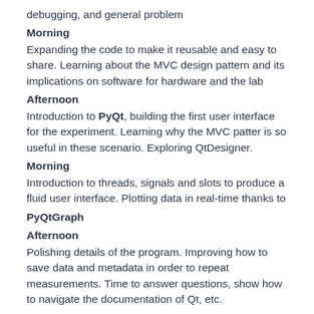debugging, and general problem
Morning
Expanding the code to make it reusable and easy to share. Learning about the MVC design pattern and its implications on software for hardware and the lab
Afternoon
Introduction to PyQt, building the first user interface for the experiment. Learning why the MVC patter is so useful in these scenario. Exploring QtDesigner.
Morning
Introduction to threads, signals and slots to produce a fluid user interface. Plotting data in real-time thanks to
PyQtGraph
Afternoon
Polishing details of the program. Improving how to save data and metadata in order to repeat measurements. Time to answer questions, show how to navigate the documentation of Qt, etc.
Contact Us